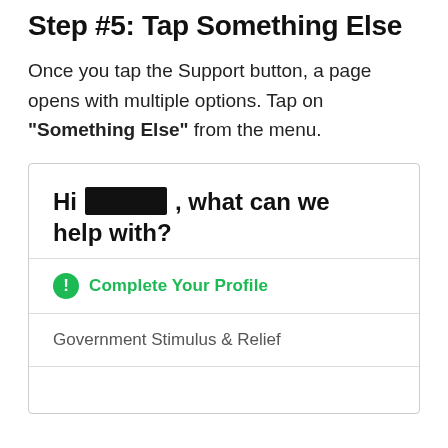Step #5: Tap Something Else
Once you tap the Support button, a page opens with multiple options. Tap on "Something Else" from the menu.
[Figure (screenshot): Screenshot of a support page showing 'Hi [redacted], what can we help with?' with a green 'Complete Your Profile' option and a 'Government Stimulus & Relief' menu item.]